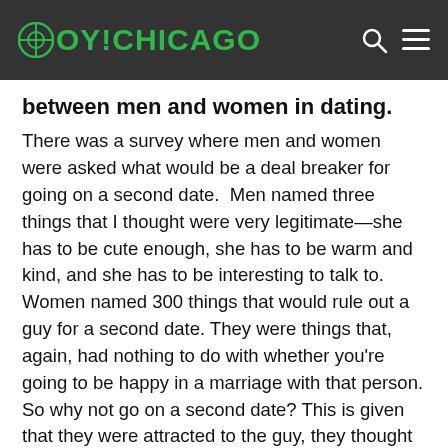OY!CHICAGO
between men and women in dating.
There was a survey where men and women were asked what would be a deal breaker for going on a second date.  Men named three things that I thought were very legitimate—she has to be cute enough, she has to be warm and kind, and she has to be interesting to talk to. Women named 300 things that would rule out a guy for a second date. They were things that, again, had nothing to do with whether you're going to be happy in a marriage with that person. So why not go on a second date? This is given that they were attracted to the guy, they thought that he was cute, they thought that he was smart, they thought he was personable,